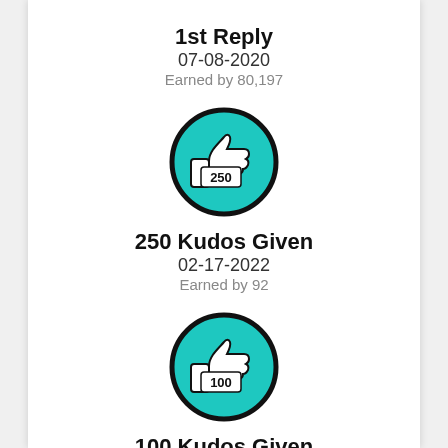1st Reply
07-08-2020
Earned by 80,197
[Figure (illustration): Teal circle badge with thumbs up icon and number 250]
250 Kudos Given
02-17-2022
Earned by 92
[Figure (illustration): Teal circle badge with thumbs up icon and number 100]
100 Kudos Given
03-14-2021
Earned by 331